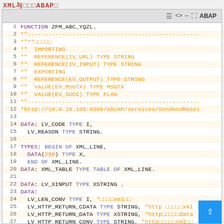XML与ABAP
[Figure (screenshot): ABAP code editor toolbar with icons and ABAP label]
ABAP source code listing lines 1-27 showing FUNCTION ZFM_ABC_YQZL with IMPORTING/EXPORTING parameters commented out, DATA declarations for LV_CODE, LV_REASON, XML_LINE type, XML_TABLE, LV_XINPUT, LV_LEN_CONV, LV_HTTP_RETURN_CDATA, LV_HTTP_RETURN_DATA, LV_HTTP_RETURN_CONV